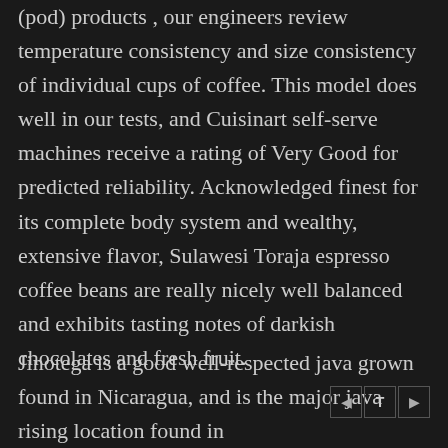(pod) products , our engineers review temperature consistency and size consistency of individual cups of coffee. This model does well in our tests, and Cuisinart self-serve machines receive a rating of Very Good for predicted reliability. Acknowledged finest for its complete body system and wealthy, extensive flavor, Sulawesi Toraja espresso coffee beans are really nicely well balanced and exhibits tasting notes of darkish chocolates and fresh fruit.
Jinotega is a good well-respected java grown found in Nicaragua, and is the major java rising location found in